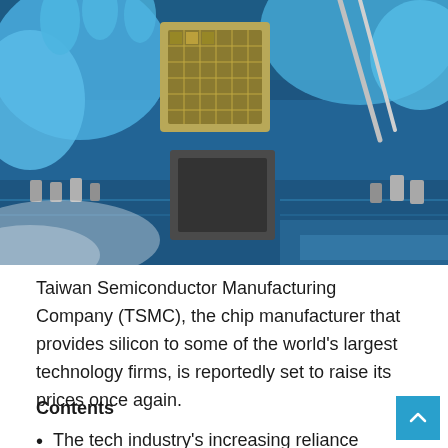[Figure (photo): Close-up photo of a person in blue gloves holding a CPU processor chip over a blue circuit board with electronic components. The photo shows semiconductor/chip manufacturing or installation.]
Taiwan Semiconductor Manufacturing Company (TSMC), the chip manufacturer that provides silicon to some of the world's largest technology firms, is reportedly set to raise its prices once again.
Contents
The tech industry's increasing reliance on TSMC